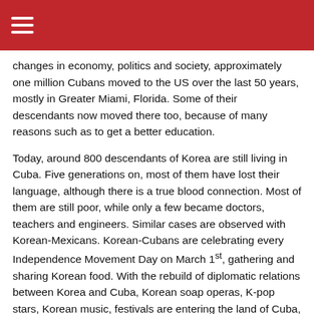☰
changes in economy, politics and society, approximately one million Cubans moved to the US over the last 50 years, mostly in Greater Miami, Florida. Some of their descendants now moved there too, because of many reasons such as to get a better education.
Today, around 800 descendants of Korea are still living in Cuba. Five generations on, most of them have lost their language, although there is a true blood connection. Most of them are still poor, while only a few became doctors, teachers and engineers. Similar cases are observed with Korean-Mexicans. Korean-Cubans are celebrating every Independence Movement Day on March 1st, gathering and sharing Korean food. With the rebuild of diplomatic relations between Korea and Cuba, Korean soap operas, K-pop stars, Korean music, festivals are entering the land of Cuba, getting more and more popular. Many of the Korean-Cubans aspire to go to Korea one day, to search for their roots.